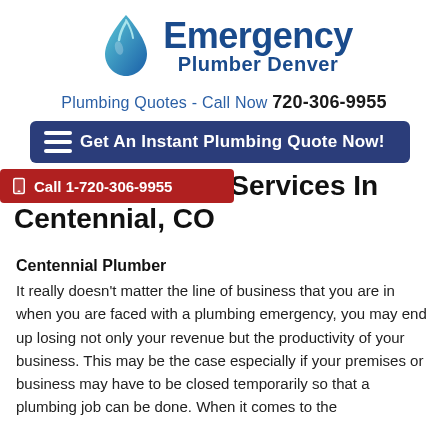[Figure (logo): Emergency Plumber Denver logo with blue flame/water drop icon and bold blue text]
Plumbing Quotes - Call Now 720-306-9955
Get An Instant Plumbing Quote Now!
Call 1-720-306-9955
Local Plumbing Services In Centennial, CO
Centennial Plumber
It really doesn't matter the line of business that you are in when you are faced with a plumbing emergency, you may end up losing not only your revenue but the productivity of your business. This may be the case especially if your premises or business may have to be closed temporarily so that a plumbing job can be done. When it comes to the